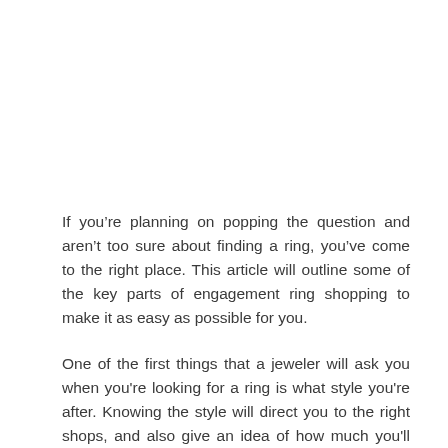If you're planning on popping the question and aren't too sure about finding a ring, you've come to the right place. This article will outline some of the key parts of engagement ring shopping to make it as easy as possible for you.
One of the first things that a jeweler will ask you when you're looking for a ring is what style you're after. Knowing the style will direct you to the right shops, and also give an idea of how much you'll spend. Another important aspect is to make sure that you do your research. If you know